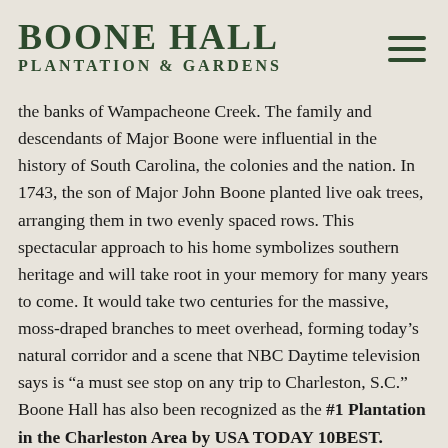BOONE HALL PLANTATION & GARDENS
the banks of Wampacheone Creek. The family and descendants of Major Boone were influential in the history of South Carolina, the colonies and the nation. In 1743, the son of Major John Boone planted live oak trees, arranging them in two evenly spaced rows. This spectacular approach to his home symbolizes southern heritage and will take root in your memory for many years to come. It would take two centuries for the massive, moss-draped branches to meet overhead, forming today's natural corridor and a scene that NBC Daytime television says is “a must see stop on any trip to Charleston, S.C.” Boone Hall has also been recognized as the #1 Plantation in the Charleston Area by USA TODAY 10BEST.